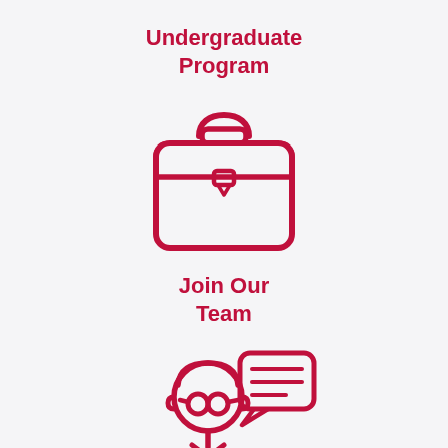Undergraduate Program
[Figure (illustration): Line-art icon of a briefcase/portfolio bag in crimson color]
Join Our Team
[Figure (illustration): Line-art icon of a professor/faculty person with glasses and a speech bubble, sitting at a desk, in crimson color]
Our Faculty